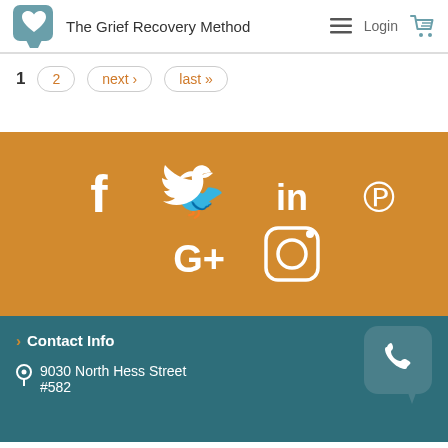The Grief Recovery Method
1  2  next ›  last »
[Figure (infographic): Social media icons on orange background: Facebook, Twitter, LinkedIn, Pinterest, Google+, Instagram]
› Contact Info
9030 North Hess Street #582